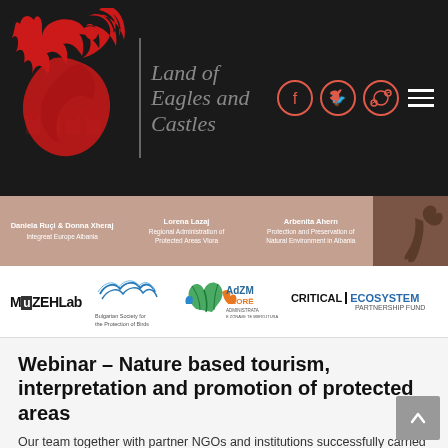Land of Eagles and Castles
[Figure (logo): Red eagle silhouette logo with castle elements on black background, with site title 'Land of Eagles and Castles' and social media icons (Facebook, Twitter, Dribbble) and hamburger menu]
[Figure (infographic): Tan/beige banner strip showing presenter names: 'Daniela Ruçi & Donna Xheraj - Integreat Europe Albania', 'Lorena Lazaj - Regional Administration of Protected Areas Vlora', 'Arbenita Ahern - Protection and Preservation of Natural Environment in Albania', with a brown bird silhouette on right]
[Figure (logo): Logos strip showing: MuZEHLab, Bulgarian Society for the Protection of Birds, AdZM Vlore (Administrata e Zonave te Mbrojtura), Critical Ecosystem Partnership Fund]
Webinar – Nature based tourism, interpretation and promotion of protected areas
Our team together with partner NGOs and institutions successfully carried out a webinar dedicated to nature-based tourism as well as the great potential that the